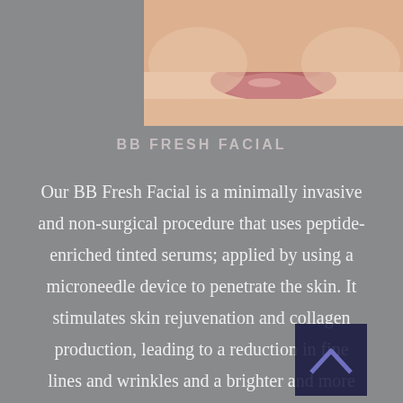[Figure (photo): Close-up photo of a woman's lower face showing her lips and chin, cropped at top portion of page]
BB FRESH FACIAL
Our BB Fresh Facial is a minimally invasive and non-surgical procedure that uses peptide-enriched tinted serums; applied by using a microneedle device to penetrate the skin. It stimulates skin rejuvenation and collagen production, leading to a reduction in fine lines and wrinkles and a brighter and more even complexion. We typically recommend a 2-4 month interval between